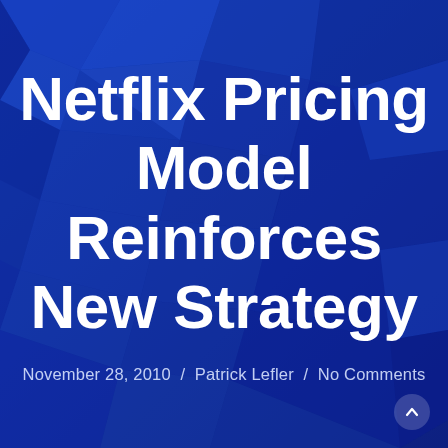[Figure (illustration): Abstract geometric blue background with polygon/faceted crystal pattern in various shades of blue]
Netflix Pricing Model Reinforces New Strategy
November 28, 2010 / Patrick Lefler / No Comments